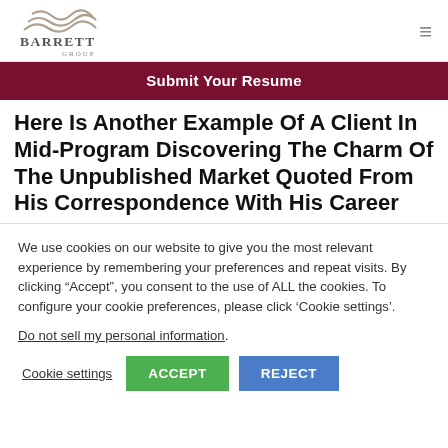Barrett Group logo and navigation
Submit Your Resume
Here Is Another Example Of A Client In Mid-Program Discovering The Charm Of The Unpublished Market Quoted From His Correspondence With His Career
We use cookies on our website to give you the most relevant experience by remembering your preferences and repeat visits. By clicking “Accept”, you consent to the use of ALL the cookies. To configure your cookie preferences, please click ‘Cookie settings’.
Do not sell my personal information.
Cookie settings  ACCEPT  REJECT